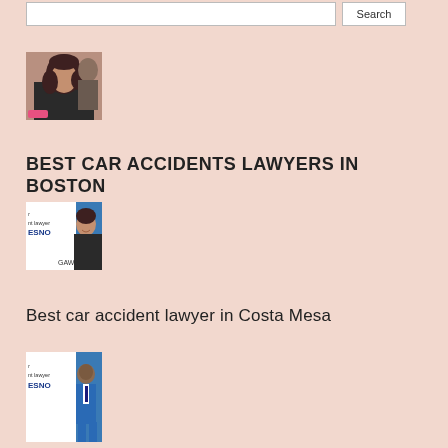[Figure (screenshot): Search bar with input field and Search button]
[Figure (photo): Woman with dark curly hair in a black outfit, courtroom/professional setting]
BEST CAR ACCIDENTS LAWYERS IN BOSTON
[Figure (photo): Woman smiling, with text showing 'accident lawyer', 'ESNO', and GAWL logo on a blue and white background]
Best car accident lawyer in Costa Mesa
[Figure (photo): Man in blue suit standing, with text showing 'accident lawyer', 'ESNO' on blue and white background]